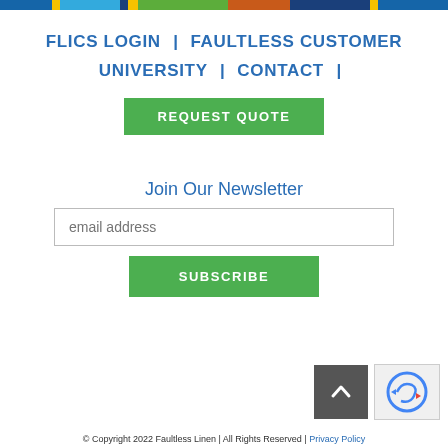[Figure (other): Colorful multi-segment horizontal bar at top of page with blue, yellow, light blue, dark blue, yellow, green, brown/orange, dark blue, yellow, dark blue stripes]
FLICS LOGIN | FAULTLESS CUSTOMER UNIVERSITY | CONTACT | REQUEST QUOTE
Join Our Newsletter
email address
SUBSCRIBE
© Copyright 2022 Faultless Linen | All Rights Reserved | Privacy Policy